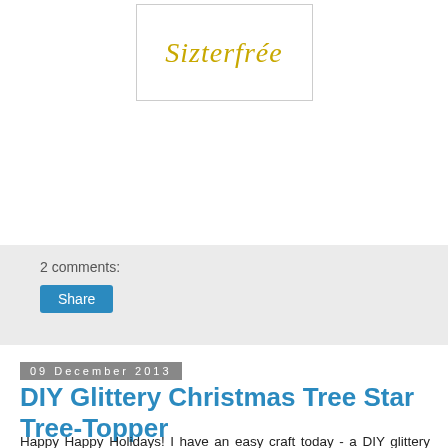[Figure (logo): Cursive gold script logo inside a white bordered box]
2 comments:
Share
09 December 2013
DIY Glittery Christmas Tree Star Tree-Topper
Happy Happy Holidays!  I have an easy craft today - a DIY glittery star Christmas tree topper.    Here is the finished product right up front: